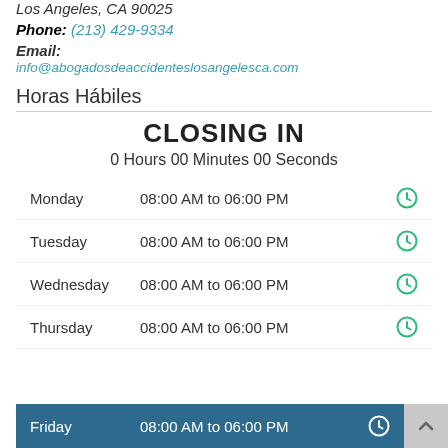Los Angeles, CA 90025
Phone: (213) 429-9334
Email:
info@abogadosdeaccidenteslosangelesca.com
Horas Hábiles
CLOSING IN
0 Hours 00 Minutes 00 Seconds
| Day | Hours |  |
| --- | --- | --- |
| Monday | 08:00 AM to 06:00 PM |  |
| Tuesday | 08:00 AM to 06:00 PM |  |
| Wednesday | 08:00 AM to 06:00 PM |  |
| Thursday | 08:00 AM to 06:00 PM |  |
| Friday | 08:00 AM to 06:00 PM |  |